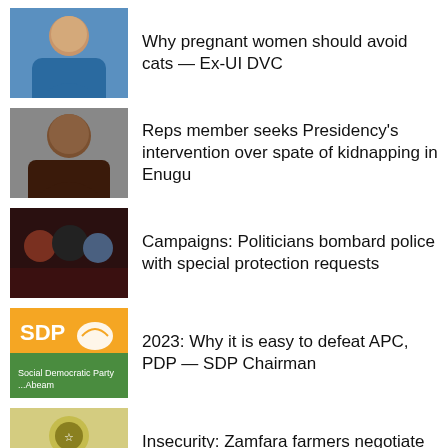Why pregnant women should avoid cats — Ex-UI DVC
Reps member seeks Presidency's intervention over spate of kidnapping in Enugu
Campaigns: Politicians bombard police with special protection requests
2023: Why it is easy to defeat APC, PDP — SDP Chairman
Insecurity: Zamfara farmers negotiate with bandits today
Delta PDP Governorship Ticket: Anxiety [X] court reserves judgment in Oborevwori's appeal